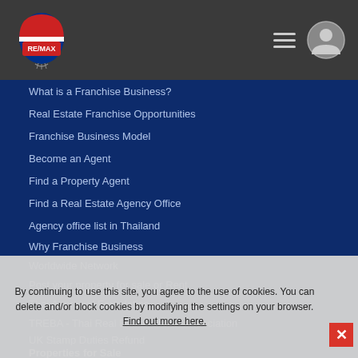RE/MAX navigation header with logo, hamburger menu, and user icon
What is a Franchise Business?
Real Estate Franchise Opportunities
Franchise Business Model
Become an Agent
Find a Property Agent
Find a Real Estate Agency Office
Agency office list in Thailand
Why Franchise Business
Worldwide Network
Post your property for sale or Rent
Thai Appraisal Foundation
TREBA - Thai Real Estate Broker Association
UK Stamp Duties Refund
Properties for Sale
For Sale
Sell a Property
By continuing to use this site, you agree to the use of cookies. You can delete and/or block cookies by modifying the settings on your browser. Find out more here.